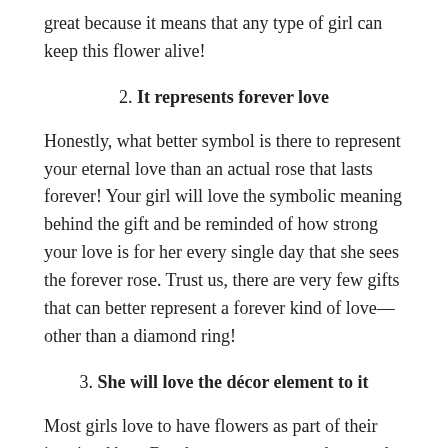great because it means that any type of girl can keep this flower alive!
2. It represents forever love
Honestly, what better symbol is there to represent your eternal love than an actual rose that lasts forever! Your girl will love the symbolic meaning behind the gift and be reminded of how strong your love is for her every single day that she sees the forever rose. Trust us, there are very few gifts that can better represent a forever kind of love—other than a diamond ring!
3. She will love the décor element to it
Most girls love to have flowers as part of their interior décor. But they are constant upkeep and must always be refreshed with a new batch. That is unless you give her the